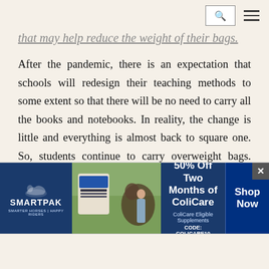[search] [menu]
that may help reduce the weight of their bags.
After the pandemic, there is an expectation that schools will redesign their teaching methods to some extent so that there will be no need to carry all the books and notebooks. In reality, the change is little and everything is almost back to square one. So, students continue to carry overweight bags. Owners and management of schools care little about the sufferings of children as they are mostly busy with their commercial gains. To most of them, it is the money that matters, nothing else. That's why
[Figure (screenshot): SmartPak advertisement banner: 50% Off Two Months of ColiCare, ColiCare Eligible Supplements, CODE: COLICARE10, Shop Now button]